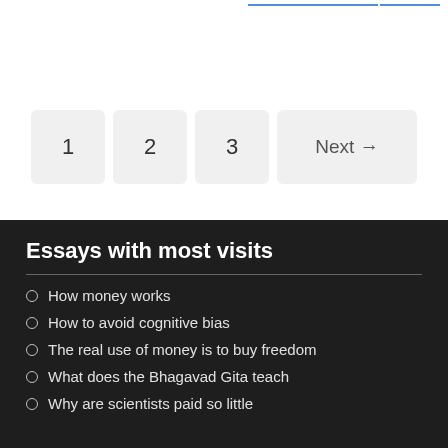1  2  3  Next →
Essays with most visits
How money works
How to avoid cognitive bias
The real use of money is to buy freedom
What does the Bhagavad Gita teach
Why are scientists paid so little